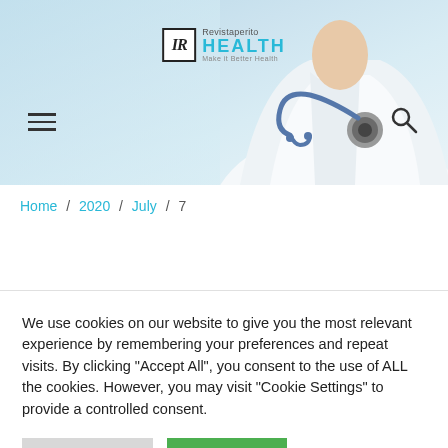[Figure (photo): Website header hero image with a doctor in a white coat with a blue stethoscope on a light blue gradient background. Logo 'Revistaperito HEALTH' centered at top. Hamburger menu icon on left and search icon on right.]
Home / 2020 / July / 7
We use cookies on our website to give you the most relevant experience by remembering your preferences and repeat visits. By clicking "Accept All", you consent to the use of ALL the cookies. However, you may visit "Cookie Settings" to provide a controlled consent.
Cookie Settings
Accept All